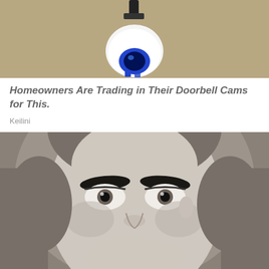[Figure (photo): Security camera mounted on a stucco wall, white dome camera with blue lens elements]
Homeowners Are Trading in Their Doorbell Cams for This.
Keilini
[Figure (photo): Black and white vintage portrait photograph of an older woman with wide staring eyes and dark prominent eyebrows]
[Figure (photo): Security camera mounted on a wall bracket, partial view at bottom left]
Homeowners Are Trading In Their Doorbell Cams For This
Camerca | Sponsored